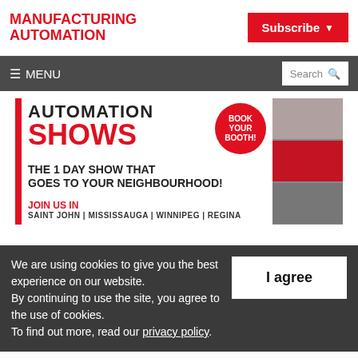MANUFACTURING AUTOMATION
Subscribe
≡ MENU | Search
[Figure (infographic): Automation Shows promotional banner: text 'AUTOMATION SHOWS' with 'BOOK YOUR BOOTH!' circle badge, 'THE 1 DAY SHOW THAT GOES TO YOUR NEIGHBOURHOOD!', 'JOIN US IN SAINT JOHN | MISSISSAUGA | WINNIPEG | REGINA', with black-and-white city photo collage on right.]
We are using cookies to give you the best experience on our website. By continuing to use the site, you agree to the use of cookies. To find out more, read our privacy policy.
I agree